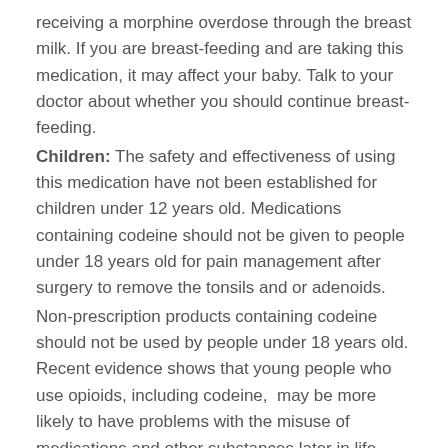receiving a morphine overdose through the breast milk. If you are breast-feeding and are taking this medication, it may affect your baby. Talk to your doctor about whether you should continue breast-feeding.
Children: The safety and effectiveness of using this medication have not been established for children under 12 years old. Medications containing codeine should not be given to people under 18 years old for pain management after surgery to remove the tonsils and or adenoids.
Non-prescription products containing codeine should not be used by people under 18 years old. Recent evidence shows that young people who use opioids, including codeine, may be more likely to have problems with the misuse of medications and other substances later in life.
Seniors: Seniors who take this medication may be more likely to experience side effects or worsening of preexisting medical conditions.